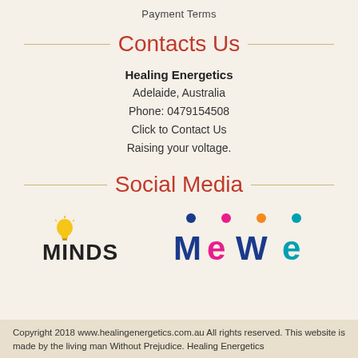Payment Terms
Contacts Us
Healing Energetics
Adelaide, Australia
Phone: 0479154508
Click to Contact Us
Raising your voltage.
Social Media
[Figure (logo): Minds and MeWe social media logos side by side]
Copyright 2018 www.healingenergetics.com.au All rights reserved. This website is made by the living man Without Prejudice. Healing Energetics